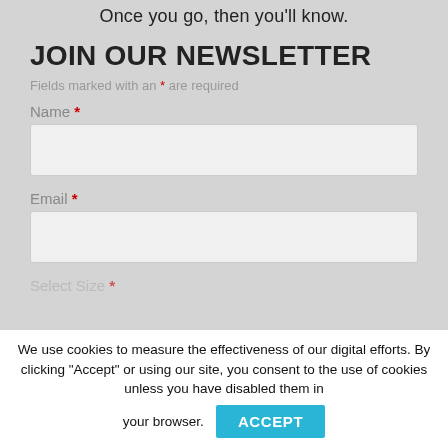Once you go, then you'll know.
JOIN OUR NEWSLETTER
Fields marked with an * are required
Name *
Email *
Select Size *
We use cookies to measure the effectiveness of our digital efforts. By clicking "Accept" or using our site, you consent to the use of cookies unless you have disabled them in your browser.